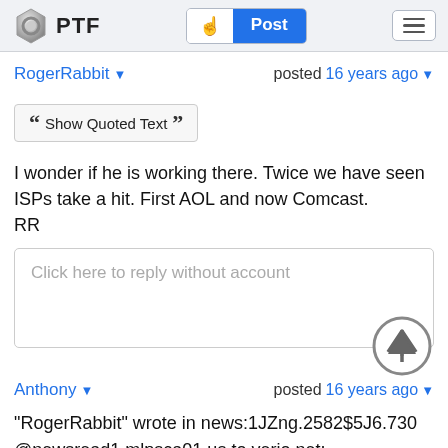PTF | Post
RogerRabbit posted 16 years ago
Show Quoted Text
I wonder if he is working there. Twice we have seen ISPs take a hit. First AOL and now Comcast.
RR
Click here to reply without account
Anthony posted 16 years ago
"RogerRabbit" wrote in news:1JZng.2582$5J6.730
@newsread1.mlpsca01.us.to.verio.net: